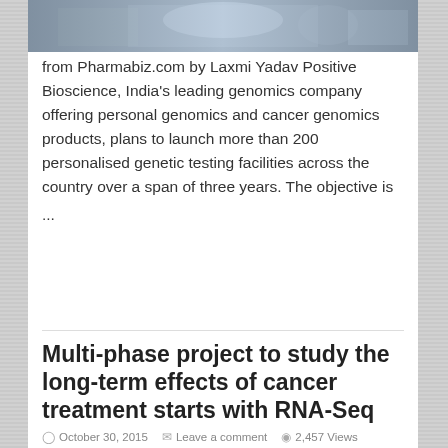[Figure (photo): Photo of people seated at a table with flowers, partially cropped at top]
from Pharmabiz.com by Laxmi Yadav Positive Bioscience, India's leading genomics company offering personal genomics and cancer genomics products, plans to launch more than 200 personalised genetic testing facilities across the country over a span of three years. The objective is ...
Read More »
Multi-phase project to study the long-term effects of cancer treatment starts with RNA-Seq
October 30, 2015   Leave a comment   2,457 Views